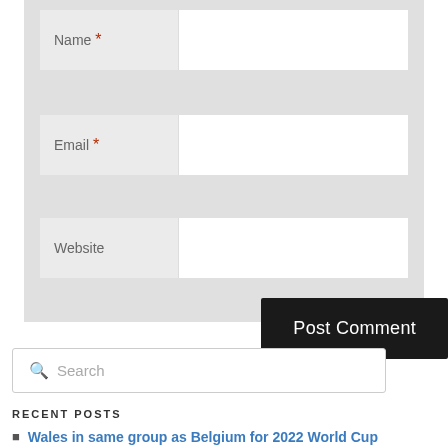[Figure (screenshot): Web comment form with Name (required), Email (required), and Website fields, each as a labeled input row on a light gray background, plus a dark 'Post Comment' button]
Search
RECENT POSTS
Wales in same group as Belgium for 2022 World Cup qualifying